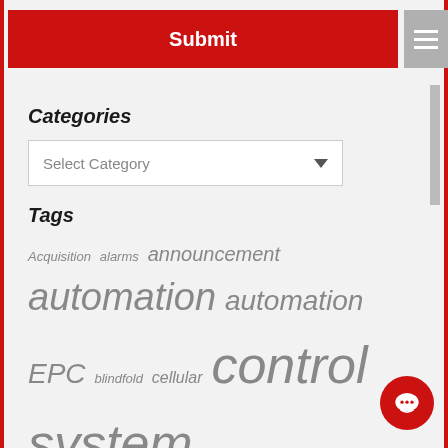Submit
Categories
Select Category
Tags
Acquisition  alarms  announcement  automation  automation EPC  blindfold  cellular  control system  control systems  core values  Curry Controls  cybersecurity  data recording  downtime  dwayne shrader  efficiency  energy  energy efficie…  hiring  historian  HMI  HR  instrumentation  justification  legacy migration